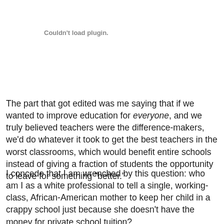Couldn't load plugin.
The part that got edited was me saying that if we wanted to improve education for everyone, and we truly believed teachers were the difference-makers, we'd do whatever it took to get the best teachers in the worst classrooms, which would benefit entire schools instead of giving a fraction of students the opportunity to leave for something "better."
I concede that I am wrenched by this question: who am I as a white professional to tell a single, working-class, African-American mother to keep her child in a crappy school just because she doesn't have the money for private school tuition?